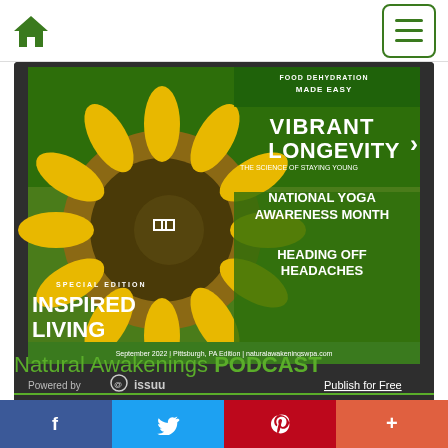[Figure (screenshot): Navigation bar with green home icon on the left and green hamburger menu button on the right]
[Figure (photo): Natural Awakenings magazine cover for September 2022, Pittsburgh PA Edition. Features a large sunflower. Text reads: FOOD DEHYDRATION MADE EASY, VIBRANT LONGEVITY - THE SCIENCE OF STAYING YOUNG, NATIONAL YOGA AWARENESS MONTH, HEADING OFF HEADACHES, SPECIAL EDITION INSPIRED LIVING. Green banner at bottom: September 2022 | Pittsburgh, PA Edition | naturalawakeningswpa.com. Powered by issuu bar at bottom with Publish for Free link.]
Natural Awakenings PODCAST
[Figure (infographic): Social share bar with four buttons: Facebook (blue), Twitter (light blue), Pinterest (red), and More (orange-red)]